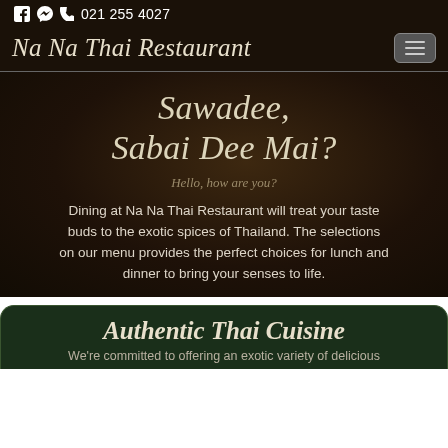f  [messenger icon]  [phone icon]  021 255 4027
Na Na Thai Restaurant
Sawadee, Sabai Dee Mai?
Hello, how are you?
Dining at Na Na Thai Restaurant will treat your taste buds to the exotic spices of Thailand. The selections on our menu provides the perfect choices for lunch and dinner to bring your senses to life.
Authentic Thai Cuisine
We're committed to offering an exotic variety of delicious